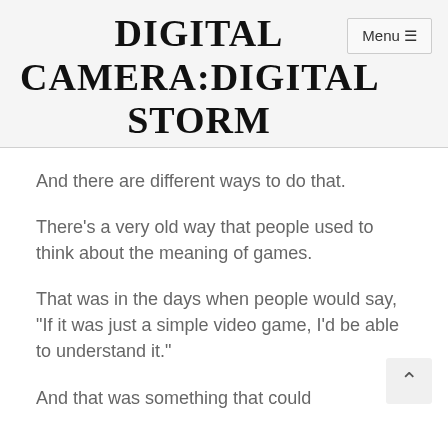DIGITAL CAMERA:DIGITAL STORM
And there are different ways to do that.
There's a very old way that people used to think about the meaning of games.
That was in the days when people would say, “If it was just a simple video game, I’d be able to understand it.”
And that was something that could